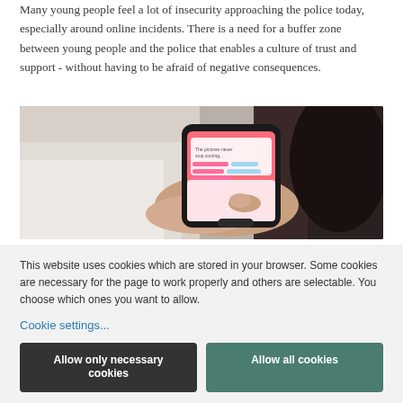Many young people feel a lot of insecurity approaching the police today, especially around online incidents. There is a need for a buffer zone between young people and the police that enables a culture of trust and support - without having to be afraid of negative consequences.
[Figure (photo): A person holding a smartphone displaying a pink/red app interface, photographed from behind, lying on white bedding.]
This website uses cookies which are stored in your browser. Some cookies are necessary for the page to work properly and others are selectable. You choose which ones you want to allow.
Cookie settings...
Allow only necessary cookies
Allow all cookies